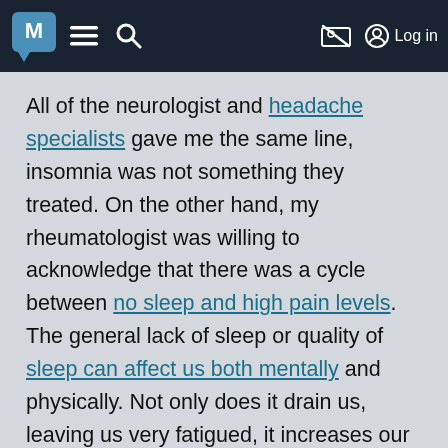M [menu] [search] [no-image] Log in
All of the neurologist and headache specialists gave me the same line, insomnia was not something they treated. On the other hand, my rheumatologist was willing to acknowledge that there was a cycle between no sleep and high pain levels. The general lack of sleep or quality of sleep can affect us both mentally and physically. Not only does it drain us, leaving us very fatigued, it increases our pain and our irritability. In order to get the best handle on pain levels, it is important to get enough sleep.